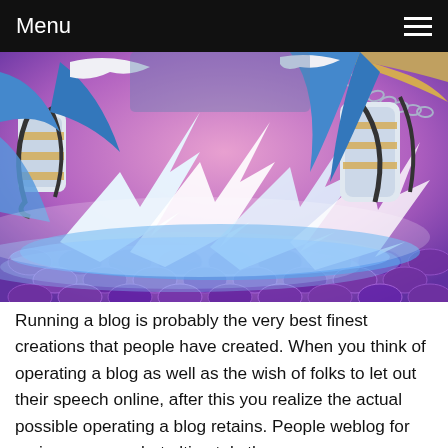Menu
[Figure (illustration): Anime-style illustration showing a character in blue and white armor with chains, performing an energy attack with glowing blue lightning effects over a purple hexagonal floor pattern.]
Running a blog is probably the very best finest creations that people have created. When you think of operating a blog as well as the wish of folks to let out their speech online, after this you realize the actual possible operating a blog retains. People weblog for various reasons but ultimately th...